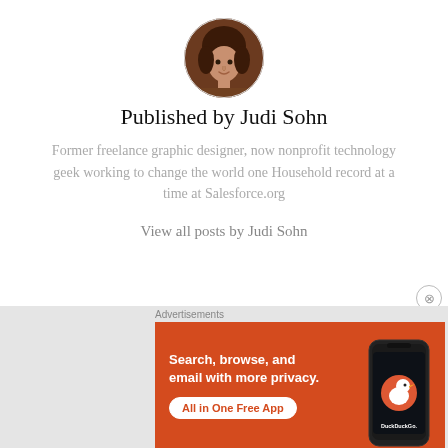[Figure (photo): Circular avatar photo of Judi Sohn, a woman with curly brown hair]
Published by Judi Sohn
Former freelance graphic designer, now nonprofit technology geek working to change the world one Household record at a time at Salesforce.org
View all posts by Judi Sohn
Advertisements
[Figure (screenshot): DuckDuckGo advertisement banner with orange background. Text: 'Search, browse, and email with more privacy. All in One Free App' with DuckDuckGo logo and phone image.]